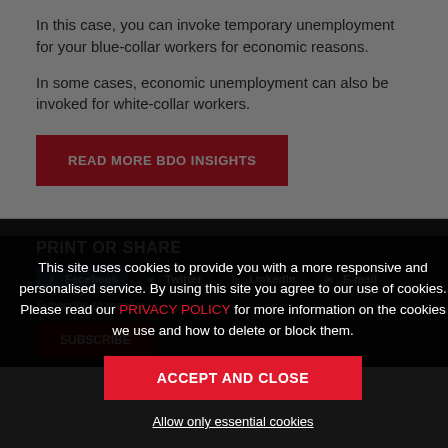In this case, you can invoke temporary unemployment for your blue-collar workers for economic reasons.
In some cases, economic unemployment can also be invoked for white-collar workers.
READ MORE BDO INSIGHTS
PRINT OR SHARE
This site uses cookies to provide you with a more responsive and personalised service. By using this site you agree to our use of cookies. Please read our PRIVACY POLICY for more information on the cookies we use and how to delete or block them.
ACCEPT AND CLOSE
Allow only essential cookies
Subscribe to receive
SUBSCRIBE